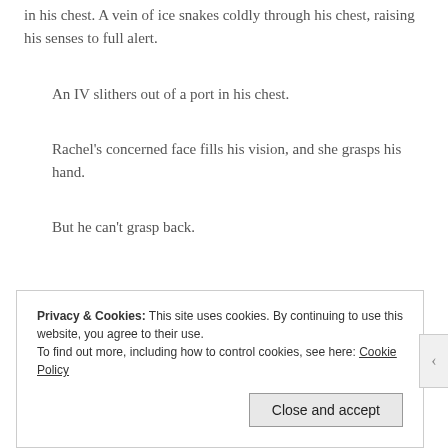in his chest. A vein of ice snakes coldly through his chest, raising his senses to full alert.
An IV slithers out of a port in his chest.
Rachel's concerned face fills his vision, and she grasps his hand.
But he can't grasp back.
Privacy & Cookies: This site uses cookies. By continuing to use this website, you agree to their use. To find out more, including how to control cookies, see here: Cookie Policy